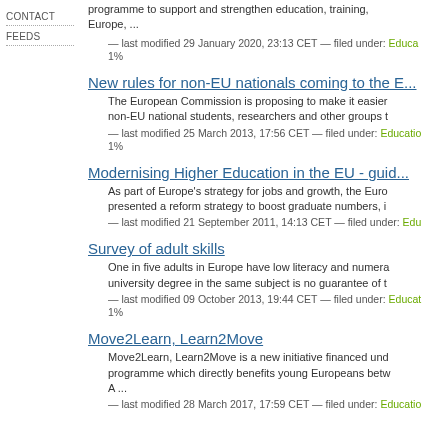CONTACT
FEEDS
programme to support and strengthen education, training, Europe, ...
— last modified 29 January 2020, 23:13 CET — filed under: Educa... 1%
New rules for non-EU nationals coming to the E...
The European Commission is proposing to make it easier for non-EU national students, researchers and other groups t...
— last modified 25 March 2013, 17:56 CET — filed under: Educatio... 1%
Modernising Higher Education in the EU - guid...
As part of Europe's strategy for jobs and growth, the Euro... presented a reform strategy to boost graduate numbers, i...
— last modified 21 September 2011, 14:13 CET — filed under: Edu...
Survey of adult skills
One in five adults in Europe have low literacy and numera... university degree in the same subject is no guarantee of t...
— last modified 09 October 2013, 19:44 CET — filed under: Educat... 1%
Move2Learn, Learn2Move
Move2Learn, Learn2Move is a new initiative financed und... programme which directly benefits young Europenas betw... A ...
— last modified 28 March 2017, 17:59 CET — filed under: Educatio...